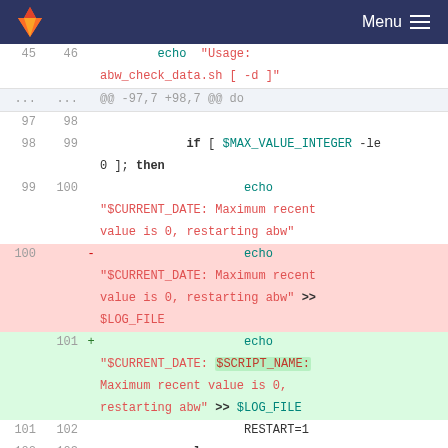GitLab — Menu
[Figure (screenshot): GitLab diff view showing shell script code changes. Lines 45-46 show echo usage string. Lines 97-104 show diff with deleted echo redirect to $LOG_FILE and added echo with $SCRIPT_NAME variable.]